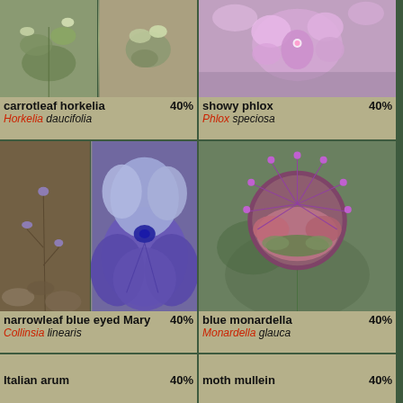[Figure (photo): Photo collage of carrotleaf horkelia plant]
carrotleaf horkelia 40%
Horkelia daucifolia
[Figure (photo): Photo of showy phlox flowers]
showy phlox 40%
Phlox speciosa
[Figure (photo): Photo collage of narrowleaf blue eyed Mary plant and flower]
narrowleaf blue eyed Mary 40%
Collinsia linearis
[Figure (photo): Photo of blue monardella flower]
blue monardella 40%
Monardella glauca
[Figure (photo): Photo collage of Italian arum plant with red and green berries]
Italian arum 40%
[Figure (photo): Photo collage of moth mullein plant with yellow flowers]
moth mullein 40%